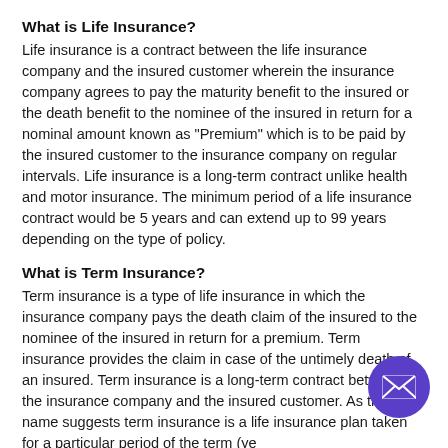What is Life Insurance?
Life insurance is a contract between the life insurance company and the insured customer wherein the insurance company agrees to pay the maturity benefit to the insured or the death benefit to the nominee of the insured in return for a nominal amount known as “Premium” which is to be paid by the insured customer to the insurance company on regular intervals. Life insurance is a long-term contract unlike health and motor insurance. The minimum period of a life insurance contract would be 5 years and can extend up to 99 years depending on the type of policy.
What is Term Insurance?
Term insurance is a type of life insurance in which the insurance company pays the death claim of the insured to the nominee of the insured in return for a premium. Term insurance provides the claim in case of the untimely death of an insured. Term insurance is a long-term contract between the insurance company and the insured customer. As the name suggests term insurance is a life insurance plan taken for a particular period of the term (ye
What are the Features of Life Insurance?
Death benefits